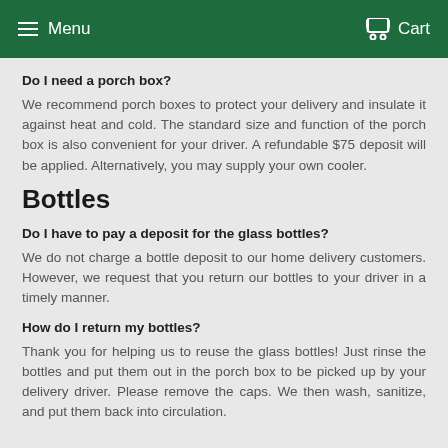Menu  Cart
Do I need a porch box?
We recommend porch boxes to protect your delivery and insulate it against heat and cold. The standard size and function of the porch box is also convenient for your driver. A refundable $75 deposit will be applied. Alternatively, you may supply your own cooler.
Bottles
Do I have to pay a deposit for the glass bottles?
We do not charge a bottle deposit to our home delivery customers. However, we request that you return our bottles to your driver in a timely manner.
How do I return my bottles?
Thank you for helping us to reuse the glass bottles! Just rinse the bottles and put them out in the porch box to be picked up by your delivery driver. Please remove the caps. We then wash, sanitize, and put them back into circulation.